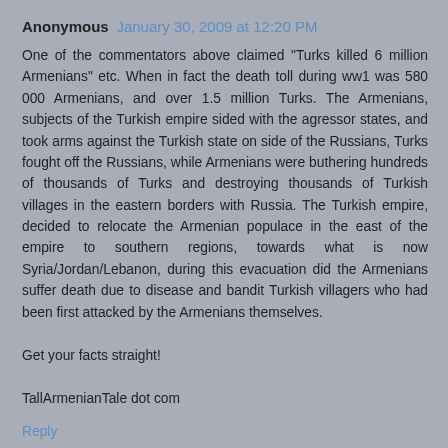Anonymous January 30, 2009 at 12:20 PM
One of the commentators above claimed "Turks killed 6 million Armenians" etc. When in fact the death toll during ww1 was 580 000 Armenians, and over 1.5 million Turks. The Armenians, subjects of the Turkish empire sided with the agressor states, and took arms against the Turkish state on side of the Russians, Turks fought off the Russians, while Armenians were buthering hundreds of thousands of Turks and destroying thousands of Turkish villages in the eastern borders with Russia. The Turkish empire, decided to relocate the Armenian populace in the east of the empire to southern regions, towards what is now Syria/Jordan/Lebanon, during this evacuation did the Armenians suffer death due to disease and bandit Turkish villagers who had been first attacked by the Armenians themselves.
Get your facts straight!
TallArmenianTale dot com
Reply